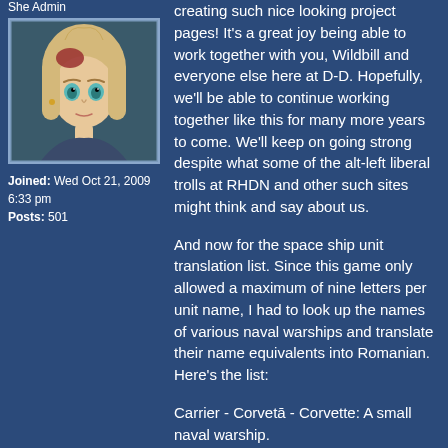She Admin
[Figure (illustration): Anime-style avatar of a blonde character with reddish hair accessory and teal eyes]
Joined: Wed Oct 21, 2009 6:33 pm
Posts: 501
creating such nice looking project pages! It's a great joy being able to work together with you, Wildbill and everyone else here at D-D. Hopefully, we'll be able to continue working together like this for many more years to come. We'll keep on going strong despite what some of the alt-left liberal trolls at RHDN and other such sites might think and say about us.

And now for the space ship unit translation list. Since this game only allowed a maximum of nine letters per unit name, I had to look up the names of various naval warships and translate their name equivalents into Romanian. Here's the list:

Carrier - Corvetā - Corvette: A small naval warship.
QueenShip - Navā - (Large) Ship/Vessel.
Hedgehog - Arici - Since this was a specific model name in the game, I decided to translate it literally.
AegisShip - Navetā - This can either mean